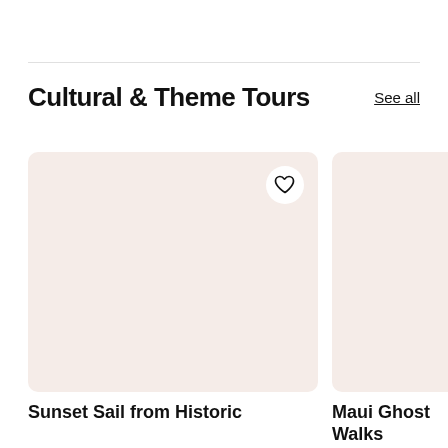Cultural & Theme Tours
See all
[Figure (photo): Card image placeholder for Sunset Sail from Historic tour — light pink/blush background rectangle with rounded corners and a heart/favorite button in top right]
Sunset Sail from Historic
[Figure (photo): Card image placeholder for Maui Ghost Walks tour — light pink/blush background rectangle with rounded corners, partially cropped on right edge]
Maui Ghost Walks